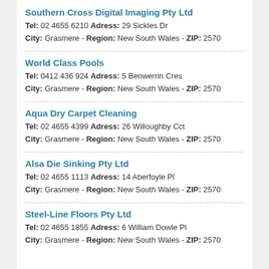Southern Cross Digital Imaging Pty Ltd
Tel: 02 4655 6210 Adress: 29 Sickles Dr
City: Grasmere - Region: New South Wales - ZIP: 2570
World Class Pools
Tel: 0412 436 924 Adress: 5 Benwerrin Cres
City: Grasmere - Region: New South Wales - ZIP: 2570
Aqua Dry Carpet Cleaning
Tel: 02 4655 4399 Adress: 26 Willoughby Cct
City: Grasmere - Region: New South Wales - ZIP: 2570
Alsa Die Sinking Pty Ltd
Tel: 02 4655 1113 Adress: 14 Aberfoyle Pl
City: Grasmere - Region: New South Wales - ZIP: 2570
Steel-Line Floors Pty Ltd
Tel: 02 4655 1855 Adress: 6 William Dowle Pl
City: Grasmere - Region: New South Wales - ZIP: 2570